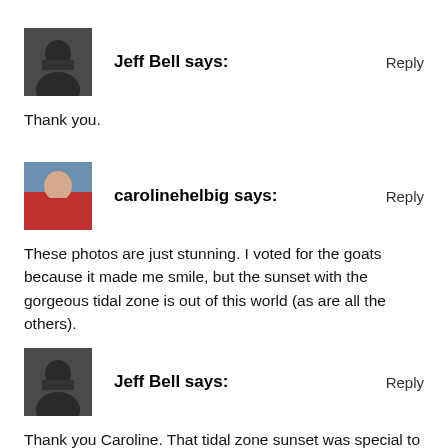[Figure (photo): Avatar photo of Jeff Bell, a man in dark clothing]
Jeff Bell says:
Reply
Thank you.
[Figure (photo): Avatar photo of carolinehelbig, a woman in red jacket]
carolinehelbig says:
Reply
These photos are just stunning. I voted for the goats because it made me smile, but the sunset with the gorgeous tidal zone is out of this world (as are all the others).
[Figure (photo): Avatar photo of Jeff Bell, a man in dark clothing]
Jeff Bell says:
Reply
Thank you Caroline. That tidal zone sunset was special to see in person, and watching that goat was cool too. Alaska